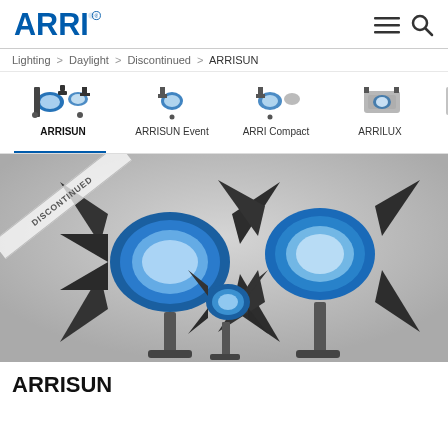ARRI
Lighting > Daylight > Discontinued > ARRISUN
ARRISUN | ARRISUN Event | ARRI Compact | ARRILUX | ARR Th...
[Figure (photo): Group of ARRISUN daylight HMI film lights on stands with barn doors, displayed on a grey gradient background. A 'DISCONTINUED' diagonal banner overlays the top-left corner.]
ARRISUN